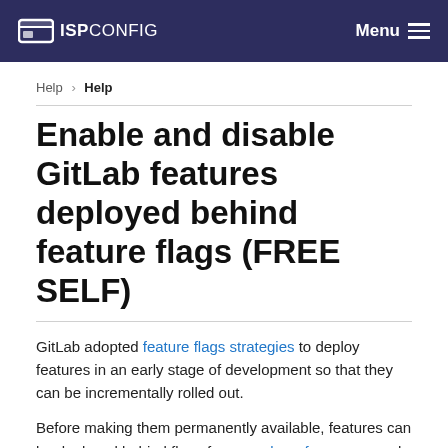ISPConfig Menu
Help › Help
Enable and disable GitLab features deployed behind feature flags (FREE SELF)
GitLab adopted feature flags strategies to deploy features in an early stage of development so that they can be incrementally rolled out.
Before making them permanently available, features can be deployed behind flags for a number of reasons, such as:
To test the feature.
To get feedback from users and customers while disabling...